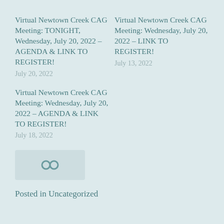Virtual Newtown Creek CAG Meeting: TONIGHT, Wednesday, July 20, 2022 – AGENDA & LINK TO REGISTER!
July 20, 2022
Virtual Newtown Creek CAG Meeting: Wednesday, July 20, 2022 – LINK TO REGISTER!
July 13, 2022
Virtual Newtown Creek CAG Meeting: Wednesday, July 20, 2022 – AGENDA & LINK TO REGISTER!
July 18, 2022
[Figure (other): Small link icon or chain icon in a light blue-grey box]
Posted in Uncategorized